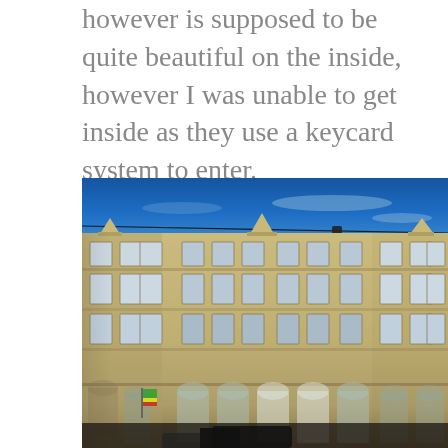however is supposed to be quite beautiful on the inside, however I was unable to get inside as they use a keycard system to enter.
[Figure (photo): Exterior photograph of a large ornate multi-storey European building with sandstone/limestone facade, multiple rows of rectangular windows, arched windows on the ground floor, decorative gabled roofline elements, and a deep blue sky above. Overhead tram or utility wires are visible.]